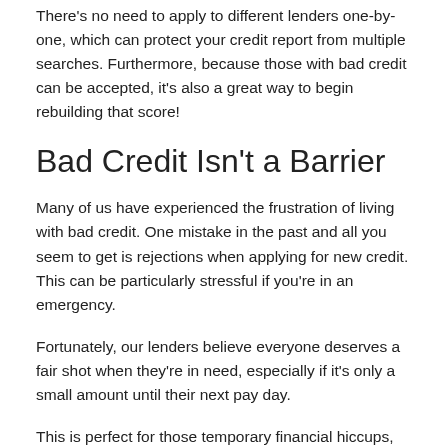There's no need to apply to different lenders one-by-one, which can protect your credit report from multiple searches. Furthermore, because those with bad credit can be accepted, it's also a great way to begin rebuilding that score!
Bad Credit Isn't a Barrier
Many of us have experienced the frustration of living with bad credit. One mistake in the past and all you seem to get is rejections when applying for new credit. This can be particularly stressful if you're in an emergency.
Fortunately, our lenders believe everyone deserves a fair shot when they're in need, especially if it's only a small amount until their next pay day.
This is perfect for those temporary financial hiccups, such as unexpected bills, or when you want to make a small upfront